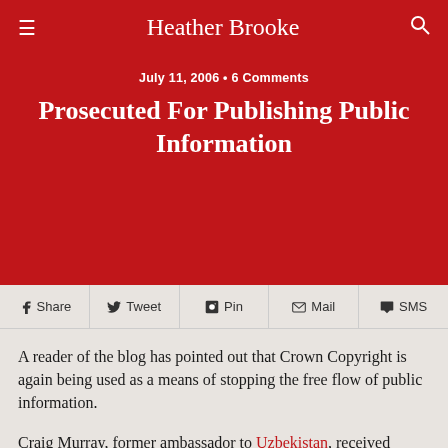Heather Brooke
July 11, 2006 • 6 Comments
Prosecuted For Publishing Public Information
Share  Tweet  Pin  Mail  SMS
A reader of the blog has pointed out that Crown Copyright is again being used as a means of stopping the free flow of public information.
Craig Murray, former ambassador to Uzbekistan, received several documents from the Foreign and